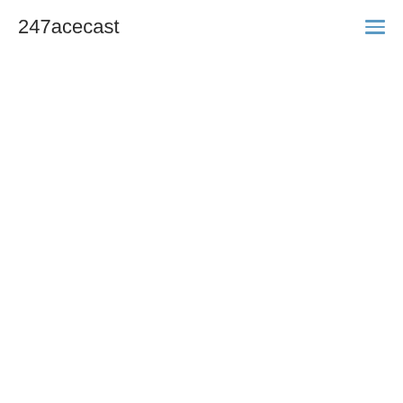247acecast
[Figure (other): Hamburger menu icon with three horizontal blue lines, top right corner of header]